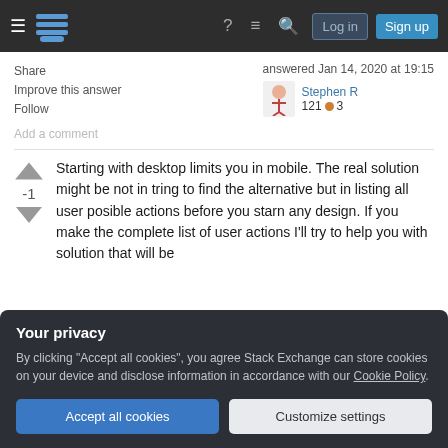Stack Exchange navigation bar with Log in and Sign up buttons
Share
Improve this answer
Follow
Add a comment
answered Jan 14, 2020 at 19:15
Stephen R
121 ●3
Starting with desktop limits you in mobile. The real solution might be not in tring to find the alternative but in listing all user posible actions before you starn any design. If you make the complete list of user actions I'll try to help you with solution that will be
Your privacy
By clicking "Accept all cookies", you agree Stack Exchange can store cookies on your device and disclose information in accordance with our Cookie Policy.
Accept all cookies
Customize settings